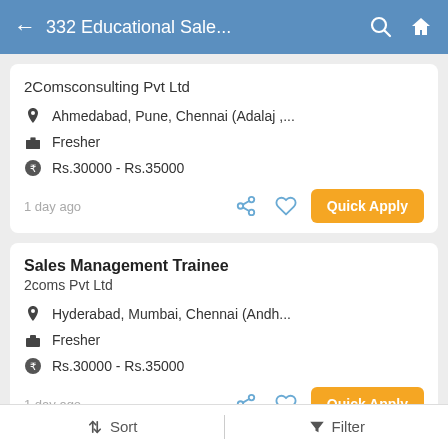332 Educational Sale...
2Comsconsulting Pvt Ltd
Ahmedabad, Pune, Chennai (Adalaj ,...
Fresher
Rs.30000 - Rs.35000
1 day ago
Quick Apply
Sales Management Trainee
2coms Pvt Ltd
Hyderabad, Mumbai, Chennai (Andh...
Fresher
Rs.30000 - Rs.35000
1 day ago
Quick Apply
Sort   Filter